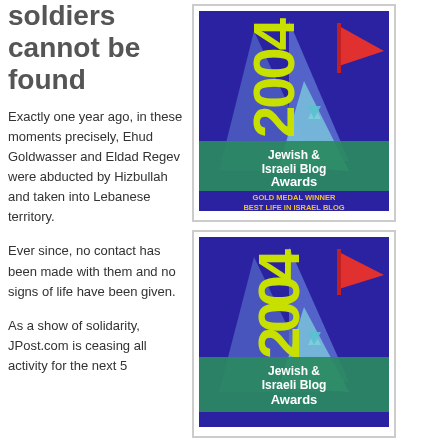soldiers cannot be found
Exactly one year ago, in these moments precisely, Ehud Goldwasser and Eldad Regev were abducted by Hizbullah and taken into Lebanese territory.
[Figure (illustration): 2004 Jewish & Israeli Blog Awards badge — Gold Medal Winner, Best Life in Israel Blog. Dark blue/purple background with sailboat shapes in blue/teal, red flag, Star of David shape in light blue, yellow '2004' text, green banner with white text 'Jewish & Israeli Blog Awards', yellow text 'GOLD MEDAL WINNER BEST LIFE IN ISRAEL BLOG'.]
Ever since, no contact has been made with them and no signs of life have been given.
As a show of solidarity, JPost.com is ceasing all activity for the next 5...
[Figure (illustration): 2004 Jewish & Israeli Blog Awards badge — same design as above but without the gold medal text at the bottom, showing only 'Jewish & Israeli Blog Awards' on the green banner.]